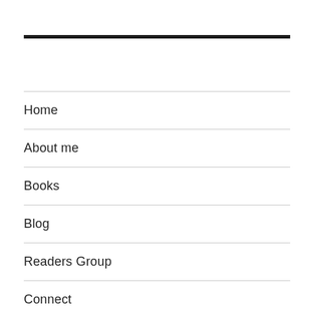Home
About me
Books
Blog
Readers Group
Connect